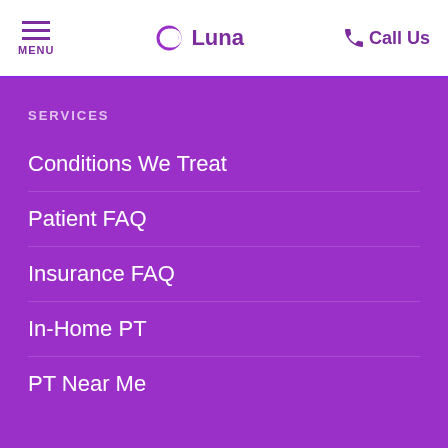MENU | Luna | Call Us
SERVICES
Conditions We Treat
Patient FAQ
Insurance FAQ
In-Home PT
PT Near Me
COMPANY
About Us / Careers
Press
Blog